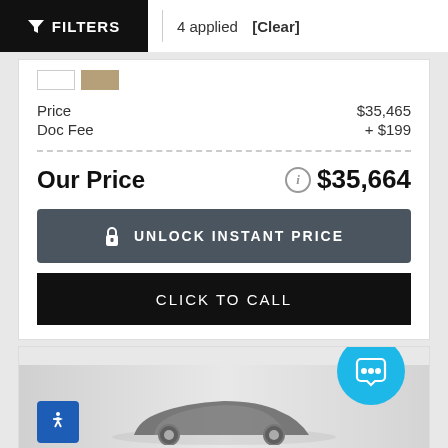FILTERS | 4 applied [Clear]
Price $35,465
Doc Fee + $199
Our Price $35,664
UNLOCK INSTANT PRICE
CLICK TO CALL
[Figure (photo): Partial view of a car listing card with a car image at the bottom, a blue chat bubble icon overlay, and a blue accessibility button in the lower left]